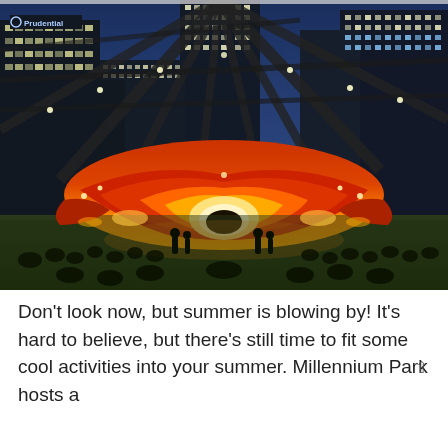[Figure (photo): Nighttime photo of Jay Pritzker Pavilion in Millennium Park, Chicago. The illuminated metallic structure glows in red and orange light with crowds sitting on the lawn. Chicago skyscrapers including a building with the Prudential logo are visible in the background against a deep blue twilight sky. Steel trellis overhead frame structure is visible.]
Don't look now, but summer is blowing by! It's hard to believe, but there's still time to fit some cool activities into your summer. Millennium Park hosts a